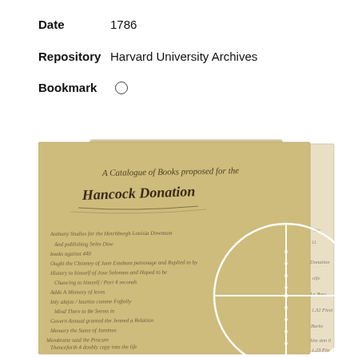Date  1786
Repository  Harvard University Archives
Bookmark  ○
[Figure (photo): Photograph of overlapping historic handwritten manuscript pages from 1786, showing cursive script including a title reading 'A Catalogue of Books proposed for the Hancock Donation'. A white circle with a crosshair/plus symbol is overlaid on the center of the image, suggesting an interactive zoom or selection feature.]